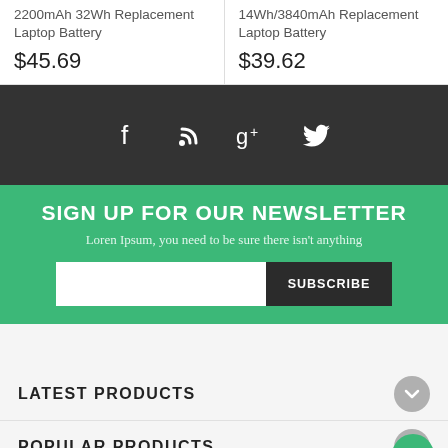2200mAh 32Wh Replacement Laptop Battery
$45.69
14Wh/3840mAh Replacement Laptop Battery
$39.62
[Figure (infographic): Dark bar with social media icons: Facebook, RSS, Google+, Twitter]
SIGN UP FOR OUR NEWSLETTER
Loren Ipsum, you need to be sure there isn't anything
SUBSCRIBE
LATEST PRODUCTS
POPULAR PRODUCTS